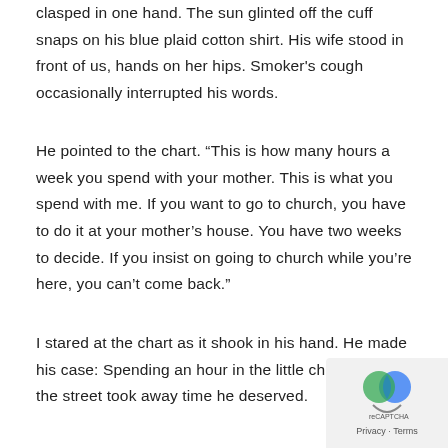clasped in one hand. The sun glinted off the cuff snaps on his blue plaid cotton shirt. His wife stood in front of us, hands on her hips. Smoker's cough occasionally interrupted his words.
He pointed to the chart. “This is how many hours a week you spend with your mother. This is what you spend with me. If you want to go to church, you have to do it at your mother’s house. You have two weeks to decide. If you insist on going to church while you’re here, you can’t come back.”
I stared at the chart as it shook in his hand. He made his case: Spending an hour in the little church across the street took away time he deserved.